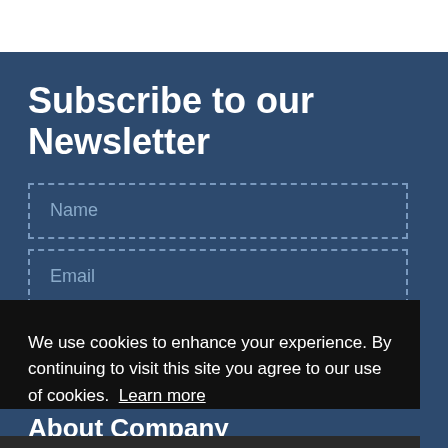Subscribe to our Newsletter
Name
Email
We use cookies to enhance your experience. By continuing to visit this site you agree to our use of cookies. Learn more
Got it!
About Company